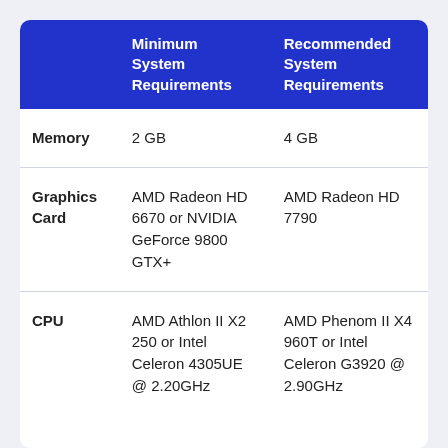|  | Minimum System Requirements | Recommended System Requirements |
| --- | --- | --- |
| Memory | 2 GB | 4 GB |
| Graphics Card | AMD Radeon HD 6670 or NVIDIA GeForce 9800 GTX+ | AMD Radeon HD 7790 |
| CPU | AMD Athlon II X2 250 or Intel Celeron 4305UE @ 2.20GHz | AMD Phenom II X4 960T or Intel Celeron G3920 @ 2.90GHz |